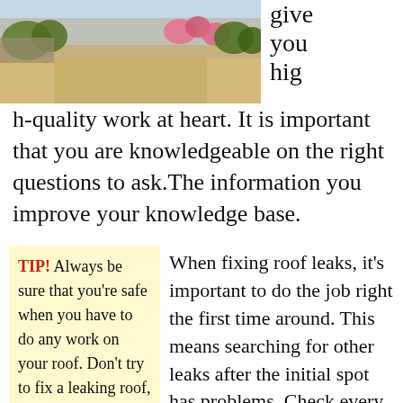[Figure (photo): Outdoor photo showing a sandy path with stone walls and green/pink flowering plants in the background.]
give you high-quality work at heart. It is important that you are knowledgeable on the right questions to ask.The information you improve your knowledge base.
TIP! Always be sure that you're safe when you have to do any work on your roof. Don't try to fix a leaking roof, for instance, while it is still storming outside.
When fixing roof leaks, it's important to do the job right the first time around. This means searching for other leaks after the initial spot has problems. Check every square inch of your roof so that you might have